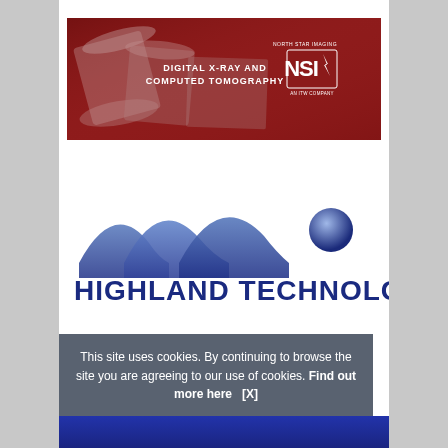[Figure (illustration): North Star Imaging banner with dark red background showing rolled documents/blueprints. Text reads 'DIGITAL X-RAY AND COMPUTED TOMOGRAPHY' with NSI logo (North Star Imaging, AN ITW COMPANY) in upper right.]
[Figure (logo): Highland Technology logo: three blue wave shapes with a blue sphere/circle to the right, above the text 'HIGHLAND TECHNOLOGY' in bold dark blue uppercase letters.]
This site uses cookies. By continuing to browse the site you are agreeing to our use of cookies. Find out more here   [X]